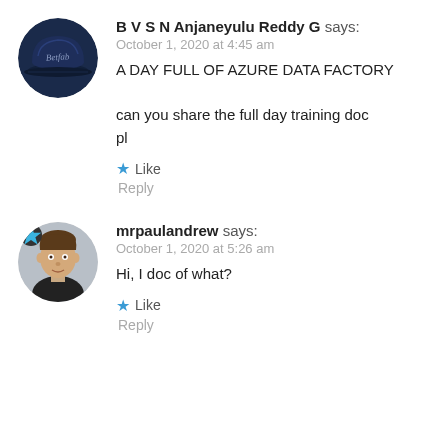[Figure (photo): Circular avatar showing a navy blue baseball cap with script text on it]
B V S N Anjaneyulu Reddy G says:
October 1, 2020 at 4:45 am
A DAY FULL OF AZURE DATA FACTORY

can you share the full day training doc pl

★ Like
Reply
[Figure (photo): Circular avatar showing a young man with dark hair, wearing a black shirt, with a star badge overlay in the top-left]
mrpaulandrew says:
October 1, 2020 at 5:26 am
Hi, I doc of what?

★ Like
Reply